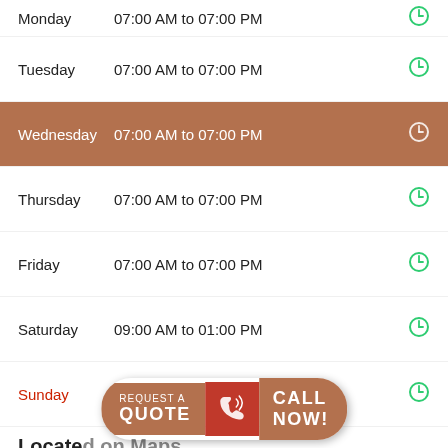Monday  07:00 AM to 07:00 PM
Tuesday  07:00 AM to 07:00 PM
Wednesday  07:00 AM to 07:00 PM (highlighted/today)
Thursday  07:00 AM to 07:00 PM
Friday  07:00 AM to 07:00 PM
Saturday  09:00 AM to 01:00 PM
Sunday  CLOSED
Located on Maps
[Figure (map): Google Maps view showing Escondido area]
[Figure (infographic): Call-to-action banner with REQUEST A QUOTE and CALL NOW! buttons with phone icon]